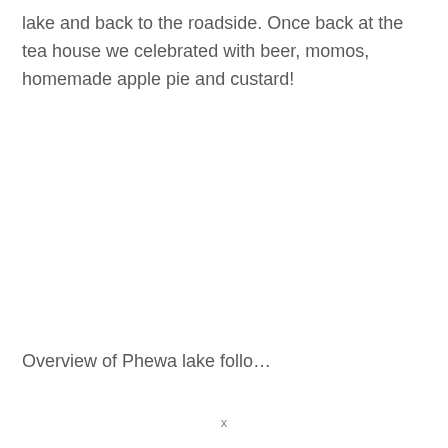lake and back to the roadside. Once back at the tea house we celebrated with beer, momos, homemade apple pie and custard!
Overview of Phewa lake follo...
x